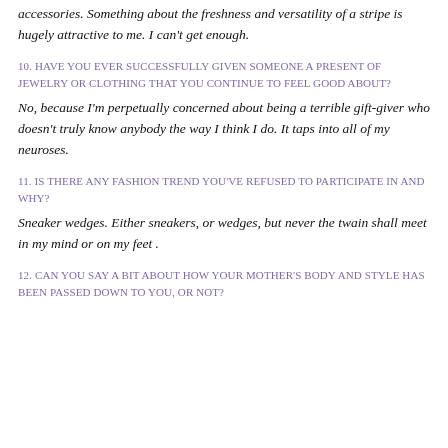accessories. Something about the freshness and versatility of a stripe is hugely attractive to me. I can't get enough.
10. HAVE YOU EVER SUCCESSFULLY GIVEN SOMEONE A PRESENT OF JEWELRY OR CLOTHING THAT YOU CONTINUE TO FEEL GOOD ABOUT?
No, because I'm perpetually concerned about being a terrible gift-giver who doesn't truly know anybody the way I think I do. It taps into all of my neuroses.
11. IS THERE ANY FASHION TREND YOU'VE REFUSED TO PARTICIPATE IN AND WHY?
Sneaker wedges. Either sneakers, or wedges, but never the twain shall meet in my mind or on my feet .
12. CAN YOU SAY A BIT ABOUT HOW YOUR MOTHER'S BODY AND STYLE HAS BEEN PASSED DOWN TO YOU, OR NOT?